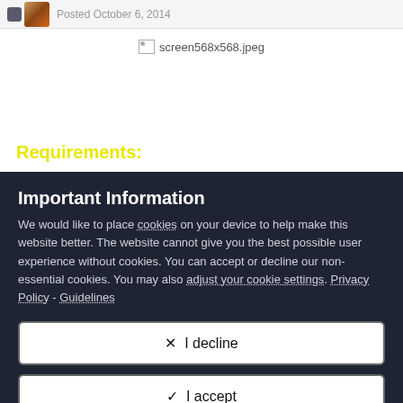Posted October 6, 2014
[Figure (other): Broken image placeholder with filename: screen568x568.jpeg]
Requirements:
Important Information
We would like to place cookies on your device to help make this website better. The website cannot give you the best possible user experience without cookies. You can accept or decline our non-essential cookies. You may also adjust your cookie settings. Privacy Policy - Guidelines
✕  I decline
✓  I accept